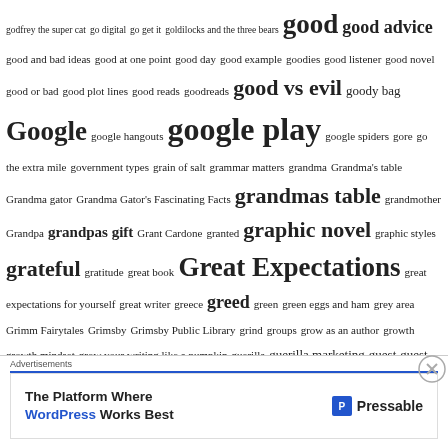godfrey the super cat go digital go get it goldilocks and the three bears good good advice good and bad ideas good at one point good day good example goodies good listener good novel good or bad good plot lines good reads goodreads good vs evil goody bag Google google hangouts google play google spiders gore go the extra mile government types grain of salt grammar matters grandma Grandma's table Grandma gator Grandma Gator's Fascinating Facts grandmas table grandmother Grandpa grandpas gift Grant Cardone granted graphic novel graphic styles grateful gratitude great book Great Expectations great expectations for yourself great writer greece greed green green eggs and ham grey area Grimm Fairytales Grimsby Grimsby Public Library grind groups grow as an author growth growth mindset grow your writing like a pumpkin guerilla guerilla marketing guest guest author guest blog guest blogger guest blog post guide guided meditation guidelines guilty pleasure guinea pig book habits habit stacking habit stacking for authors habits will change your life haiku contest winner halloween halloween book Hamilton hamilton local publisher hamilton ontario
[Figure (other): Advertisements banner: The Platform Where WordPress Works Best — Pressable logo]